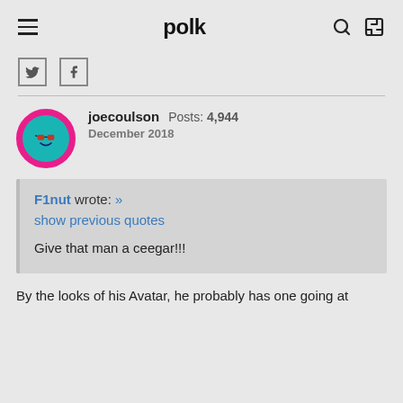polk
joecoulson  Posts: 4,944  December 2018
F1nut wrote: »
show previous quotes

Give that man a ceegar!!!
By the looks of his Avatar, he probably has one going at